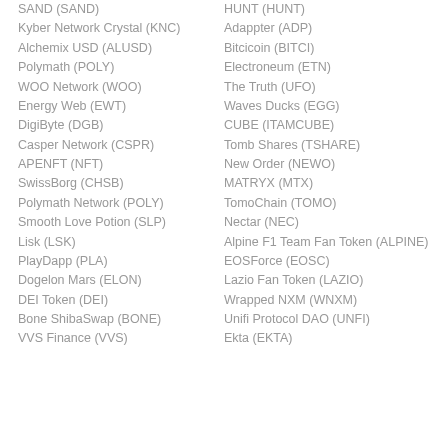SAND (SAND)
Kyber Network Crystal (KNC)
Alchemix USD (ALUSD)
Polymath (POLY)
WOO Network (WOO)
Energy Web (EWT)
DigiByte (DGB)
Casper Network (CSPR)
APENFT (NFT)
SwissBorg (CHSB)
Polymath Network (POLY)
Smooth Love Potion (SLP)
Lisk (LSK)
PlayDapp (PLA)
Dogelon Mars (ELON)
DEI Token (DEI)
Bone ShibaSwap (BONE)
VVS Finance (VVS)
HUNT (HUNT)
Adappter (ADP)
Bitcicoin (BITCI)
Electroneum (ETN)
The Truth (UFO)
Waves Ducks (EGG)
CUBE (ITAMCUBE)
Tomb Shares (TSHARE)
New Order (NEWO)
MATRYX (MTX)
TomoChain (TOMO)
Nectar (NEC)
Alpine F1 Team Fan Token (ALPINE)
EOSForce (EOSC)
Lazio Fan Token (LAZIO)
Wrapped NXM (WNXM)
Unifi Protocol DAO (UNFI)
Ekta (EKTA)